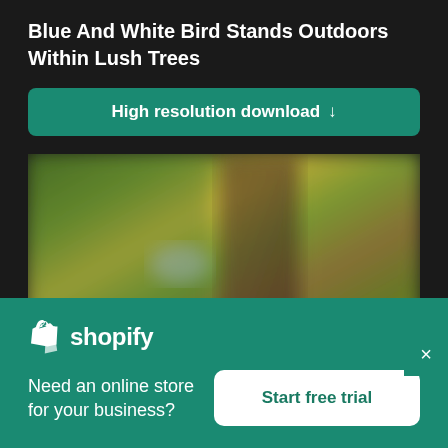Blue And White Bird Stands Outdoors Within Lush Trees
High resolution download ↓
[Figure (photo): Blurred outdoor photo of a blue and white bird standing among lush green trees]
[Figure (logo): Shopify logo with shopping bag icon and 'shopify' text in white]
Need an online store for your business?
Start free trial